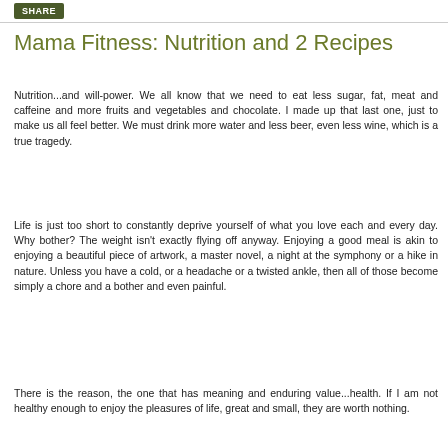SHARE
Mama Fitness: Nutrition and 2 Recipes
Nutrition...and will-power. We all know that we need to eat less sugar, fat, meat and caffeine and more fruits and vegetables and chocolate. I made up that last one, just to make us all feel better. We must drink more water and less beer, even less wine, which is a true tragedy.
Life is just too short to constantly deprive yourself of what you love each and every day. Why bother? The weight isn't exactly flying off anyway. Enjoying a good meal is akin to enjoying a beautiful piece of artwork, a master novel, a night at the symphony or a hike in nature. Unless you have a cold, or a headache or a twisted ankle, then all of those become simply a chore and a bother and even painful.
There is the reason, the one that has meaning and enduring value...health. If I am not healthy enough to enjoy the pleasures of life, great and small, they are worth nothing.